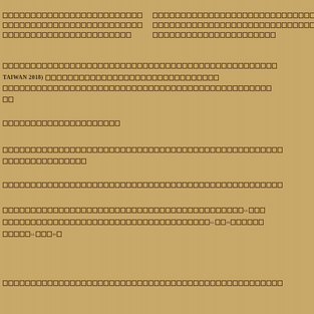[CJK text block - line 1, full width]
[CJK text block - line 2, full width]
[CJK text block - line 3, partial width]
[CJK text block - section 2 line 1]
TAIWAN 2018) [CJK text continuing]
[CJK text block - section 2 line 3]
[CJK two characters]
[CJK text - short line]
[CJK text block full width line]
[CJK text partial line]
[CJK text block full width]
[CJK quoted text with marks]
[CJK quoted text with marks line 2]
[CJK quoted short text]
[CJK text final line]